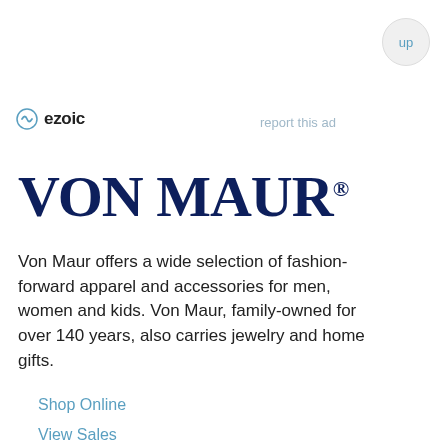[Figure (logo): Circular button with 'up' text in light blue on light gray background, top right corner]
[Figure (logo): Ezoic logo — circular icon with 'ezoic' bold text in dark]
report this ad
VON MAUR®
Von Maur offers a wide selection of fashion-forward apparel and accessories for men, women and kids. Von Maur, family-owned for over 140 years, also carries jewelry and home gifts.
Shop Online
View Sales
Store Locations (23)